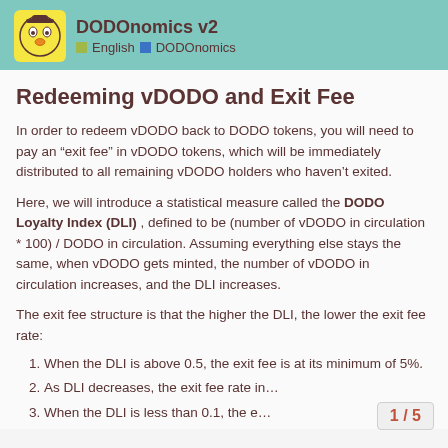DODOnomics v2 | English | DODOnomics
Redeeming vDODO and Exit Fee
In order to redeem vDODO back to DODO tokens, you will need to pay an “exit fee” in vDODO tokens, which will be immediately distributed to all remaining vDODO holders who haven’t exited.
Here, we will introduce a statistical measure called the DODO Loyalty Index (DLI) , defined to be (number of vDODO in circulation * 100) / DODO in circulation. Assuming everything else stays the same, when vDODO gets minted, the number of vDODO in circulation increases, and the DLI increases.
The exit fee structure is that the higher the DLI, the lower the exit fee rate:
When the DLI is above 0.5, the exit fee is at its minimum of 5%.
As DLI decreases, the exit fee rate in…
When the DLI is less than 0.1, the e…
1 / 5